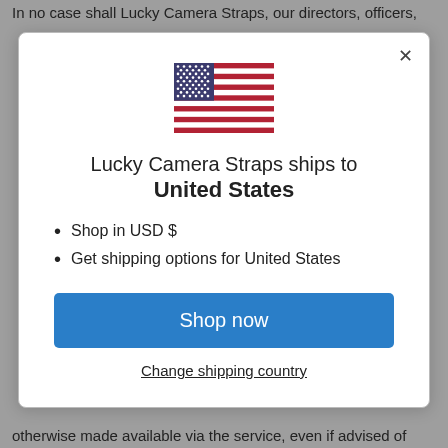In no case shall Lucky Camera Straps, our directors, officers,
[Figure (screenshot): Modal dialog showing Lucky Camera Straps shipping destination. Contains a US flag icon, text 'Lucky Camera Straps ships to United States', bullet points 'Shop in USD $' and 'Get shipping options for United States', a blue 'Shop now' button, and a 'Change shipping country' link. Has a close (X) button in the top right.]
otherwise made available via the service, even if advised of